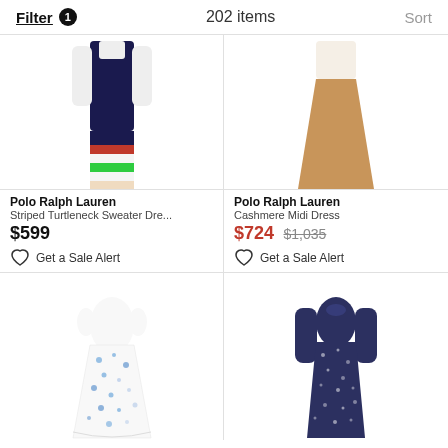Filter 1  202 items  Sort
[Figure (photo): Polo Ralph Lauren Striped Turtleneck Sweater Dress - navy blue with red, white and green stripes at hem]
Polo Ralph Lauren
Striped Turtleneck Dre...
$599
Get a Sale Alert
[Figure (photo): Polo Ralph Lauren Cashmere Midi Dress - camel/tan colored flared skirt]
Polo Ralph Lauren
Cashmere Midi Dress
$724 $1,035
Get a Sale Alert
[Figure (photo): White floral print short sleeve midi dress]
[Figure (photo): Navy blue/dark floral print long sleeve midi dress]